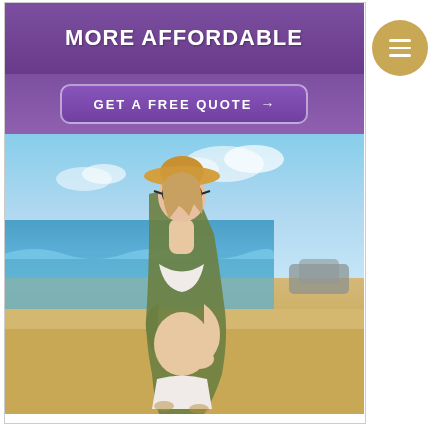[Figure (photo): Insurance advertisement showing a pregnant woman in a white bikini and green cardigan, wearing a straw hat and sunglasses, standing on a sunny beach. The top portion has a purple banner with the text 'More Affordable' and a 'GET A FREE QUOTE →' button. A gold circular menu button with three horizontal lines is in the upper right corner.]